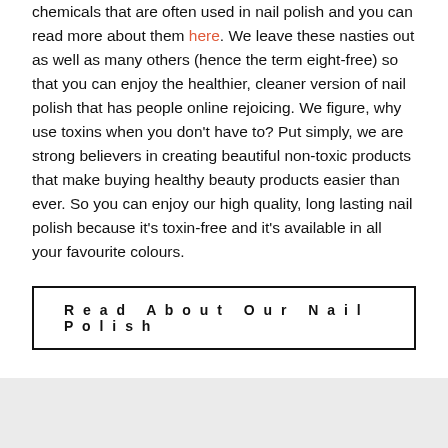chemicals that are often used in nail polish and you can read more about them here. We leave these nasties out as well as many others (hence the term eight-free) so that you can enjoy the healthier, cleaner version of nail polish that has people online rejoicing. We figure, why use toxins when you don't have to? Put simply, we are strong believers in creating beautiful non-toxic products that make buying healthy beauty products easier than ever. So you can enjoy our high quality, long lasting nail polish because it's toxin-free and it's available in all your favourite colours.
Read About Our Nail Polish